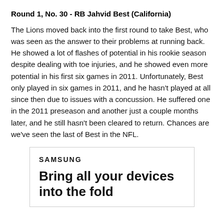Round 1, No. 30 - RB Jahvid Best (California)
The Lions moved back into the first round to take Best, who was seen as the answer to their problems at running back. He showed a lot of flashes of potential in his rookie season despite dealing with toe injuries, and he showed even more potential in his first six games in 2011. Unfortunately, Best only played in six games in 2011, and he hasn't played at all since then due to issues with a concussion. He suffered one in the 2011 preseason and another just a couple months later, and he still hasn't been cleared to return. Chances are we've seen the last of Best in the NFL.
[Figure (other): Samsung advertisement showing brand name 'SAMSUNG' and tagline 'Bring all your devices into the fold']